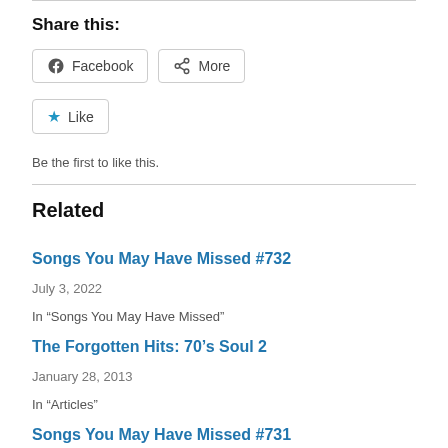Share this:
[Figure (other): Facebook share button and More share button]
[Figure (other): Like button (star icon) with text 'Be the first to like this.']
Be the first to like this.
Related
Songs You May Have Missed #732
July 3, 2022
In "Songs You May Have Missed"
The Forgotten Hits: 70's Soul 2
January 28, 2013
In "Articles"
Songs You May Have Missed #731
June 12, 2022
In "Songs You May Have Missed"